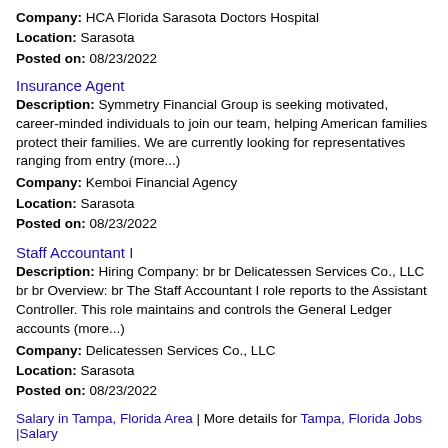Company: HCA Florida Sarasota Doctors Hospital
Location: Sarasota
Posted on: 08/23/2022
Insurance Agent
Description: Symmetry Financial Group is seeking motivated, career-minded individuals to join our team, helping American families protect their families. We are currently looking for representatives ranging from entry (more...)
Company: Kemboi Financial Agency
Location: Sarasota
Posted on: 08/23/2022
Staff Accountant I
Description: Hiring Company: br br Delicatessen Services Co., LLC br br Overview: br The Staff Accountant I role reports to the Assistant Controller. This role maintains and controls the General Ledger accounts (more...)
Company: Delicatessen Services Co., LLC
Location: Sarasota
Posted on: 08/23/2022
Salary in Tampa, Florida Area | More details for Tampa, Florida Jobs |Salary